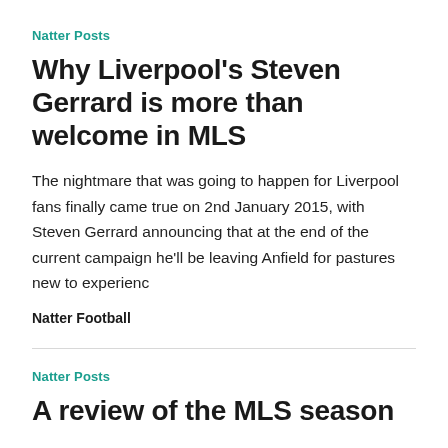Natter Posts
Why Liverpool’s Steven Gerrard is more than welcome in MLS
The nightmare that was going to happen for Liverpool fans finally came true on 2nd January 2015, with Steven Gerrard announcing that at the end of the current campaign he’ll be leaving Anfield for pastures new to experienc
Natter Football
Natter Posts
A review of the MLS season